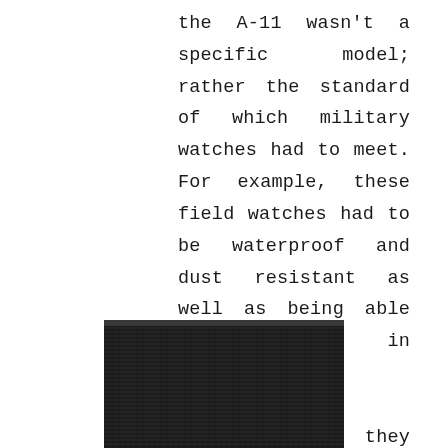the A-11 wasn't a specific model; rather the standard of which military watches had to meet. For example, these field watches had to be waterproof and dust resistant as well as being able to function in extreme temperatures. Additionally, they required a power reserve of 30-56 hours and be accurate to +/- 30 seconds a day. Even today that's a decent spec, never mind in the 1940's.
[Figure (photo): Close-up photograph of a dark/black woven fabric or textile material, showing a detailed texture of tightly woven threads.]